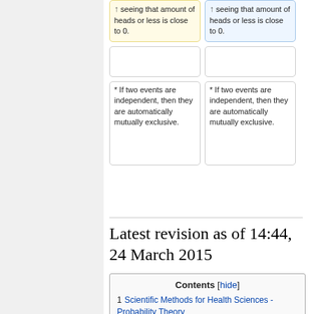| seeing that amount of heads or less is close to 0. | seeing that amount of heads or less is close to 0. |
|  |  |
| * If two events are independent, then they are automatically mutually exclusive. | * If two events are independent, then they are automatically mutually exclusive. |
Latest revision as of 14:44, 24 March 2015
Contents [hide]
1  Scientific Methods for Health Sciences - Probability Theory
1.1  Overview
1.2  Motivation